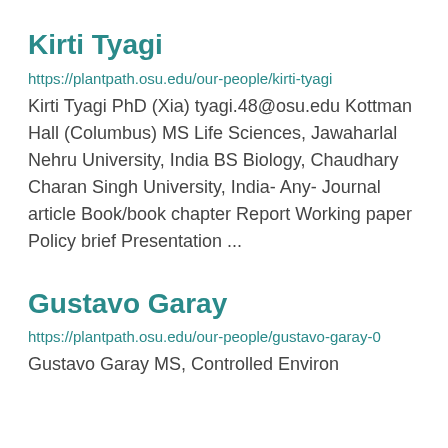Kirti Tyagi
https://plantpath.osu.edu/our-people/kirti-tyagi
Kirti Tyagi PhD (Xia) tyagi.48@osu.edu Kottman Hall (Columbus) MS Life Sciences, Jawaharlal Nehru University, India BS Biology, Chaudhary Charan Singh University, India- Any- Journal article Book/book chapter Report Working paper Policy brief Presentation ...
Gustavo Garay
https://plantpath.osu.edu/our-people/gustavo-garay-0
Gustavo Garay MS, Controlled Environ